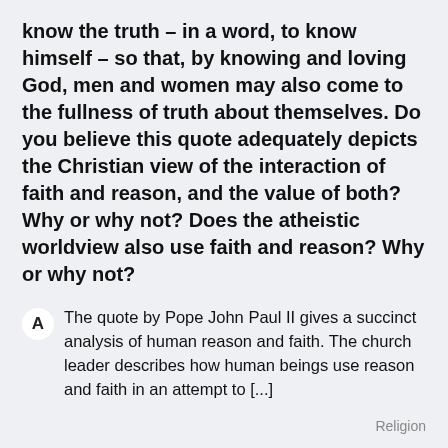know the truth – in a word, to know himself – so that, by knowing and loving God, men and women may also come to the fullness of truth about themselves. Do you believe this quote adequately depicts the Christian view of the interaction of faith and reason, and the value of both? Why or why not? Does the atheistic worldview also use faith and reason? Why or why not?
A  The quote by Pope John Paul II gives a succinct analysis of human reason and faith. The church leader describes how human beings use reason and faith in an attempt to [...]
Religion